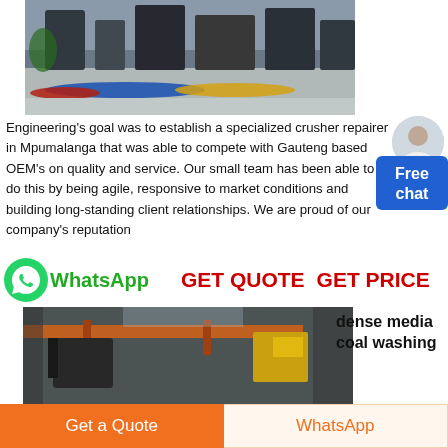[Figure (photo): Interior of an industrial factory/workshop with machinery, colorful striped floor markings in blue, yellow and red, and heavy equipment in the background.]
Engineering's goal was to establish a specialized crusher repairer in Mpumalanga that was able to compete with Gauteng based OEM's on quality and service. Our small team has been able to do this by being agile, responsive to market conditions and building long-standing client relationships. We are proud of our company's reputation
[Figure (infographic): WhatsApp icon with green circle and phone logo, WhatsApp text in green, GET QUOTE and GET PRICE in red bold text]
[Figure (photo): Industrial crane and heavy machinery in a factory/mining facility with orange crane beam and yellow equipment visible.]
dense media coal washing
Get a Quote
WhatsApp